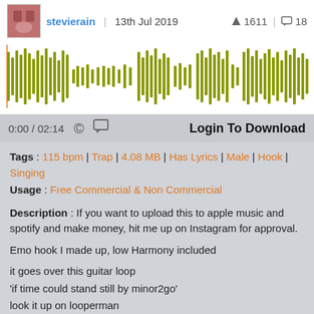stevierain | 13th Jul 2019 | 1611 | 18
[Figure (other): Audio waveform visualization in olive/yellow-green color on white background]
0:00 / 02:14  © [comment icon]  Login To Download
Tags : 115 bpm | Trap | 4.08 MB | Has Lyrics | Male | Hook | Singing
Usage : Free Commercial & Non Commercial
Description : If you want to upload this to apple music and spotify and make money, hit me up on Instagram for approval.

Emo hook I made up, low Harmony included

it goes over this guitar loop
'if time could stand still by minor2go'
look it up on looperman

post what youve done in the comments

If you're an established artist - hit me up on instagram. collab